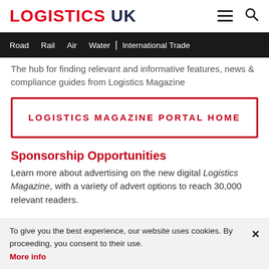LOGISTICS UK
Road  Rail  Air  Water  | International Trade
The hub for finding relevant and informative features, news & compliance guides from Logistics Magazine
LOGISTICS MAGAZINE PORTAL HOME
Sponsorship Opportunities
Learn more about advertising on the new digital Logistics Magazine, with a variety of advert options to reach 30,000 relevant readers.
To give you the best experience, our website uses cookies. By proceeding, you consent to their use. More info